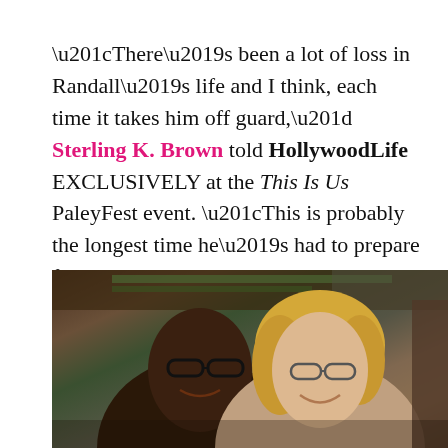“There’s been a lot of loss in Randall’s life and I think, each time it takes him off guard,” Sterling K. Brown told HollywoodLife EXCLUSIVELY at the This Is Us PaleyFest event. “This is probably the longest time he’s had to prepare for it, which makes it easier and harder at the same time because you have to see your mom suffer.”
[Figure (photo): Photo of two people smiling, a man on the left with glasses and a woman on the right with glasses and blonde hair, at what appears to be an indoor event]